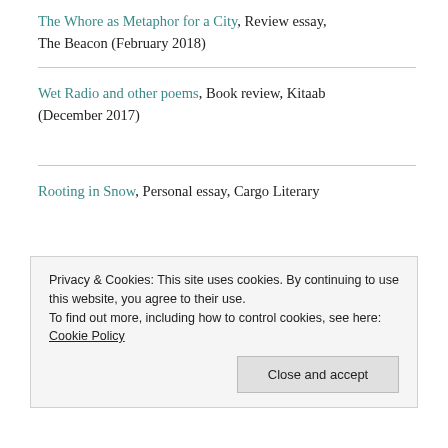The Whore as Metaphor for a City, Review essay, The Beacon (February 2018)
Wet Radio and other poems, Book review, Kitaab (December 2017)
Rooting in Snow, Personal essay, Cargo Literary
Privacy & Cookies: This site uses cookies. By continuing to use this website, you agree to their use.
To find out more, including how to control cookies, see here: Cookie Policy
Close and accept